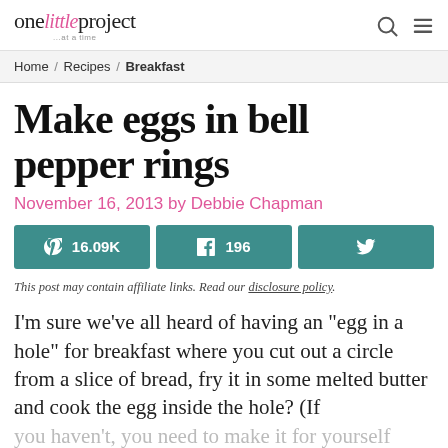one little project ...at a time
Home / Recipes / Breakfast
Make eggs in bell pepper rings
November 16, 2013 by Debbie Chapman
[Figure (other): Social share buttons: Pinterest 16.09K, Facebook 196, Twitter]
This post may contain affiliate links. Read our disclosure policy.
I'm sure we've all heard of having an "egg in a hole" for breakfast where you cut out a circle from a slice of bread, fry it in some melted butter and cook the egg inside the hole? (If you haven't, you need to make it for yourself because it's amazing). You can make the same...